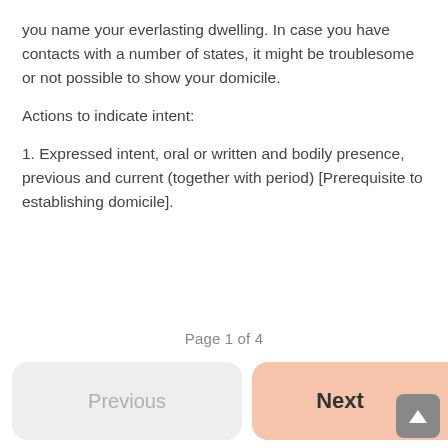you name your everlasting dwelling. In case you have contacts with a number of states, it might be troublesome or not possible to show your domicile.
Actions to indicate intent:
1. Expressed intent, oral or written and bodily presence, previous and current (together with period) [Prerequisite to establishing domicile].
Page 1 of 4